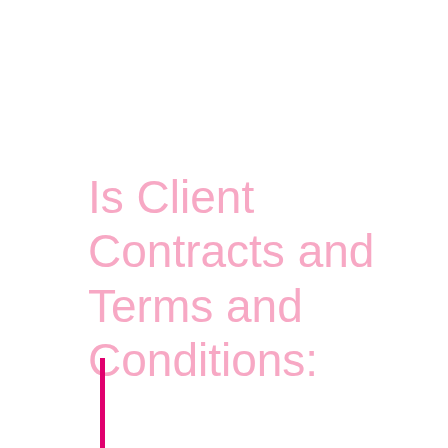Is Client Contracts and Terms and Conditions:
[Figure (other): A vertical pink/magenta decorative line on the left side below the title text]